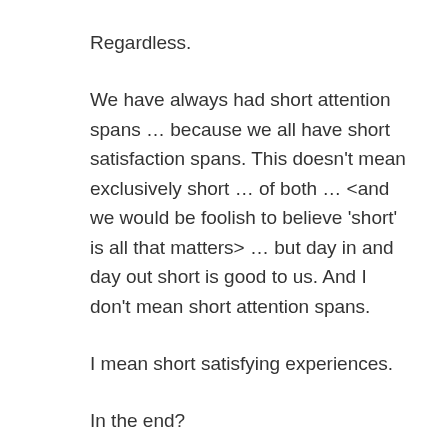Regardless.
We have always had short attention spans … because we all have short satisfaction spans. This doesn't mean exclusively short … of both … <and we would be foolish to believe 'short' is all that matters> … but day in and day out short is good to us. And I don't mean short attention spans.
I mean short satisfying experiences.
In the end?